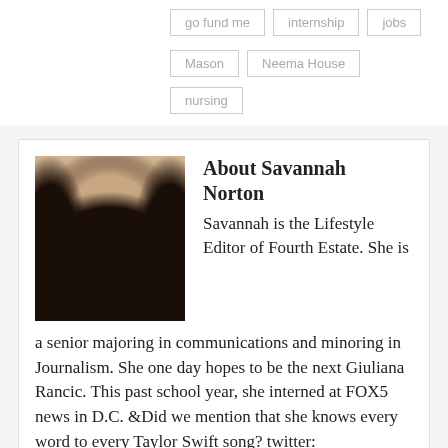go fund me
internship
jobs
Mason
Neema House
nursing
[Figure (photo): Headshot photo of Savannah Norton, a young woman with long dark wavy hair, smiling]
About Savannah Norton
Savannah is the Lifestyle Editor of Fourth Estate. She is a senior majoring in communications and minoring in Journalism. She one day hopes to be the next Giuliana Rancic. This past school year, she interned at FOX5 news in D.C. &Did we mention that she knows every word to every Taylor Swift song? twitter: